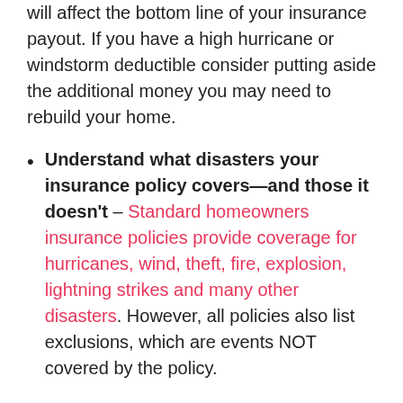will affect the bottom line of your insurance payout. If you have a high hurricane or windstorm deductible consider putting aside the additional money you may need to rebuild your home.
Understand what disasters your insurance policy covers—and those it doesn't – Standard homeowners insurance policies provide coverage for hurricanes, wind, theft, fire, explosion, lightning strikes and many other disasters. However, all policies also list exclusions, which are events NOT covered by the policy.
One common exclusion is flooding. People tend to underestimate this risk, but 90 percent of all natural disasters—especially hurricanes—include some form of flooding. If you live in a flood zone or a hurricane-prone area, a separate flood insurance policy is a must. Another common exclusion is sewer backups (which is also not covered by flood insurance) Sewer backup